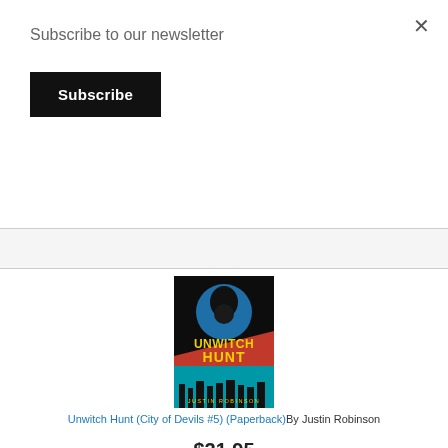Subscribe to our newsletter
Subscribe
×
[Figure (illustration): Book cover for Unwitch Hunt (City of Devils #5) by Justin Robinson — dark background with a black cat-like creature flying against a blue moon, yellow comic-style text reading UNWITCH HUNT, red diagonal stripe, teal burst pattern, city skyline at bottom, author name Justin Robinson at bottom]
Unwitch Hunt (City of Devils #5) (Paperback)By Justin Robinson
$21.95
ADD TO CART
ADD TO WISH LIST